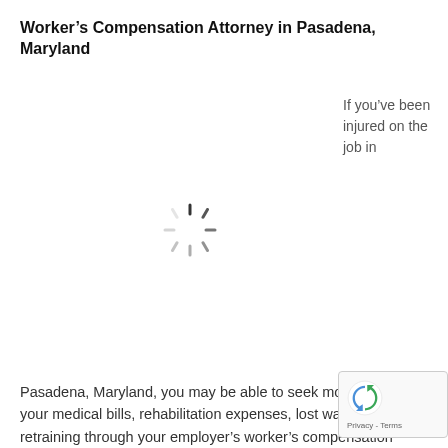Worker’s Compensation Attorney in Pasadena, Maryland
If you’ve been injured on the job in
[Figure (other): Loading spinner icon (animated circle with spokes) indicating an image is loading]
Pasadena, Maryland, you may be able to seek money to cover your medical bills, rehabilitation expenses, lost wages, and retraining through your employer’s worker’s compensation